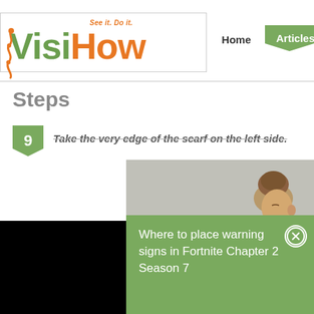[Figure (logo): VisiHow logo with tagline 'See it. Do it.' Visi in green, How in orange, with decorative squiggle on left]
Home
Articles
Steps
9  Take the very edge of the scarf on the left side.
[Figure (photo): Video frame showing a woman with hair in a bun from the side, gray background]
Where to place warning signs in Fortnite Chapter 2 Season 7
[Figure (photo): Partial video frame showing person in yellow top, gray background]